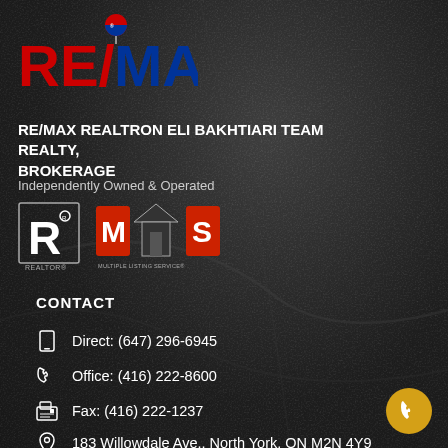[Figure (logo): RE/MAX logo in red and blue with balloon icon]
RE/MAX REALTRON ELI BAKHTIARI TEAM REALTY, BROKERAGE
Independently Owned & Operated
[Figure (logo): REALTOR and MLS Multiple Listing Service logos]
CONTACT
Direct: (647) 296-6945
Office: (416) 222-8600
Fax: (416) 222-1237
183 Willowdale Ave., North York, ON M2N 4Y9